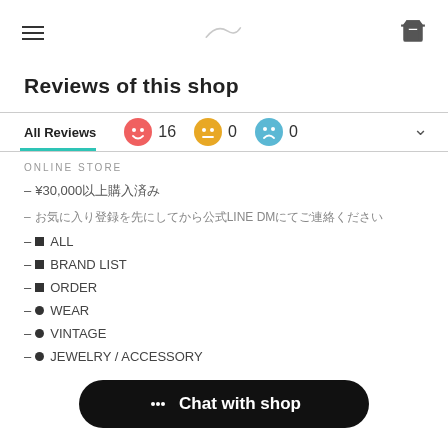≡  [logo]  🛒
Reviews of this shop
All Reviews  😊 16  😐 0  😞 0
ONLINE STORE
– ¥30,000以上購入済み
– お気に入り登録を先にしてから公式LINE DMにてご連絡ください
– ■ALL
– ■BRAND LIST
– ■ORDER
– ●WEAR
– ●VINTAGE
– ●JEWELRY / ACCESSORY
Chat with shop